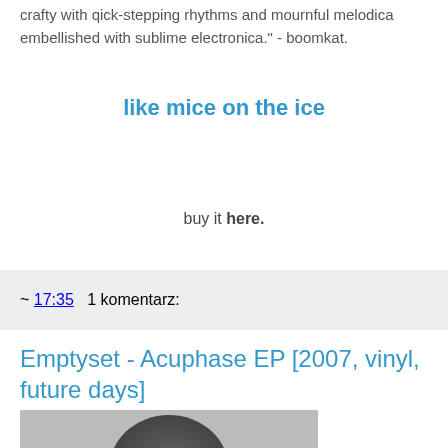crafty with qick-stepping rhythms and mournful melodica embellished with sublime electronica." - boomkat.
like mice on the ice
buy it here.
~ 17:35   1 komentarz:
Emptyset - Acuphase EP [2007, vinyl, future days]
[Figure (photo): Partial image visible at bottom of page]